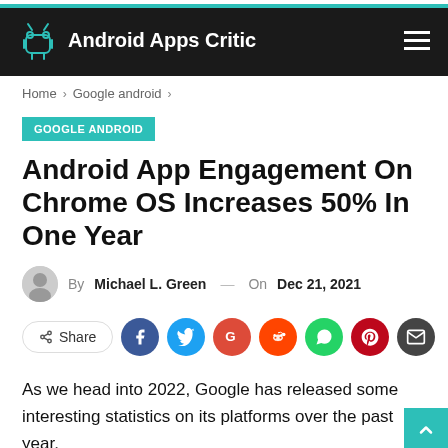Android Apps Critic
Home > Google android >
GOOGLE ANDROID
Android App Engagement On Chrome OS Increases 50% In One Year
By Michael L. Green — On Dec 21, 2021
[Figure (other): Social share buttons: Share, Facebook, Twitter, Google+, Reddit, WhatsApp, Pinterest, Email]
As we head into 2022, Google has released some interesting statistics on its platforms over the past year.